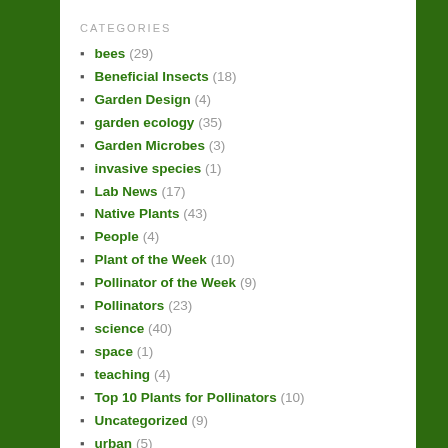CATEGORIES
bees (29)
Beneficial Insects (18)
Garden Design (4)
garden ecology (35)
Garden Microbes (3)
invasive species (1)
Lab News (17)
Native Plants (43)
People (4)
Plant of the Week (10)
Pollinator of the Week (9)
Pollinators (23)
science (40)
space (1)
teaching (4)
Top 10 Plants for Pollinators (10)
Uncategorized (9)
urban (5)
urban soils (6)
What are the bees doing (3)